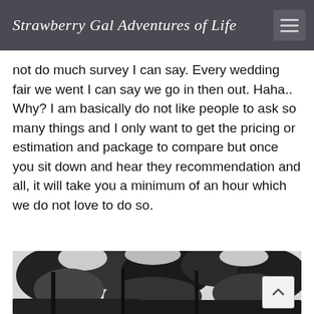Strawberry Gal Adventures of Life
not do much survey I can say. Every wedding fair we went I can say we go in then out. Haha.. Why? I am basically do not like people to ask so many things and I only want to get the pricing or estimation and package to compare but once you sit down and hear they recommendation and all, it will take you a minimum of an hour which we do not love to do so.
[Figure (photo): A black and white outdoor photograph showing trees with foliage and a bright sky in the background.]